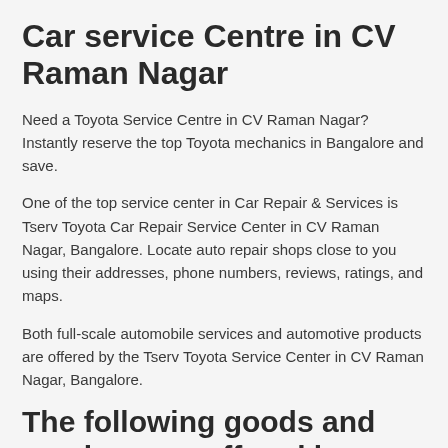Car service Centre in CV Raman Nagar
Need a Toyota Service Centre in CV Raman Nagar? Instantly reserve the top Toyota mechanics in Bangalore and save.
One of the top service center in Car Repair & Services is Tserv Toyota Car Repair Service Center in CV Raman Nagar, Bangalore. Locate auto repair shops close to you using their addresses, phone numbers, reviews, ratings, and maps.
Both full-scale automobile services and automotive products are offered by the Tserv Toyota Service Center in CV Raman Nagar, Bangalore.
The following goods and services are offered by Tserv Toyota Service Centre: